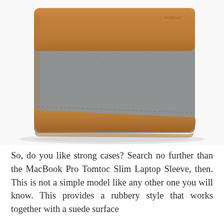[Figure (photo): Product photo of the Tomtoc Slim Laptop Sleeve — a laptop sleeve case with a brown tan leather flap on top and bottom, and a gray felt/wool main body. The sleeve stands upright at an angle on a white background. The Tomtoc brand name is embossed on the upper right of the leather flap.]
So, do you like strong cases? Search no further than the MacBook Pro Tomtoc Slim Laptop Sleeve, then. This is not a simple model like any other one you will know. This provides a rubbery style that works together with a suede surface